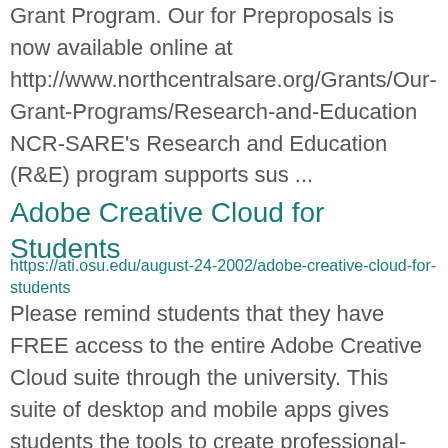Grant Program. Our for Preproposals is now available online at http://www.northcentralsare.org/Grants/Our-Grant-Programs/Research-and-Education NCR-SARE's Research and Education (R&E) program supports sus ...
Adobe Creative Cloud for Students
https://ati.osu.edu/august-24-2002/adobe-creative-cloud-for-students
Please remind students that they have FREE access to the entire Adobe Creative Cloud suite through the university. This suite of desktop and mobile apps gives students the tools to create professional-level images,